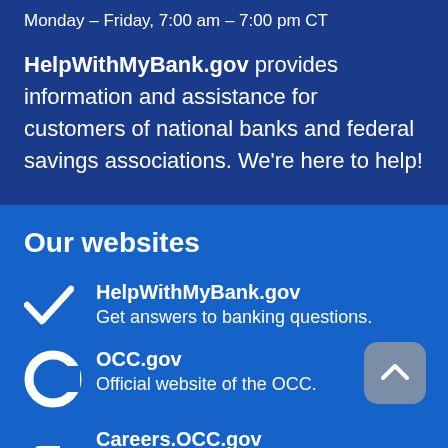Monday – Friday, 7:00 am – 7:00 pm CT
HelpWithMyBank.gov provides information and assistance for customers of national banks and federal savings associations. We're here to help!
Our websites
HelpWithMyBank.gov
Get answers to banking questions.
OCC.gov
Official website of the OCC.
Careers.OCC.gov